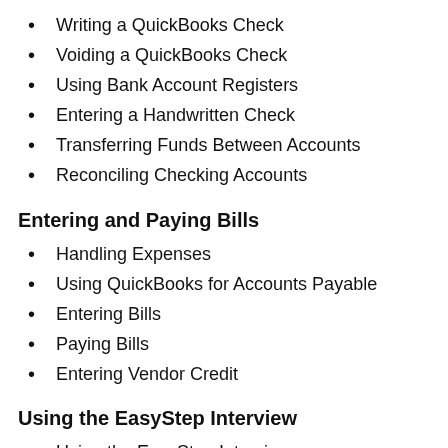Writing a QuickBooks Check
Voiding a QuickBooks Check
Using Bank Account Registers
Entering a Handwritten Check
Transferring Funds Between Accounts
Reconciling Checking Accounts
Entering and Paying Bills
Handling Expenses
Using QuickBooks for Accounts Payable
Entering Bills
Paying Bills
Entering Vendor Credit
Using the EasyStep Interview
Using the EasyStep Interview